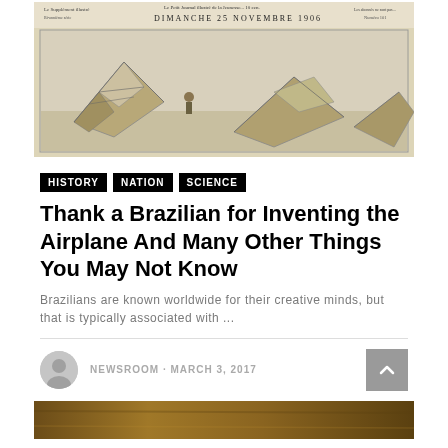[Figure (photo): Old French newspaper front page 'Le Petit Journal' dated Dimanche 25 Novembre 1906, featuring an illustration of early flying machines/kites with a person among them, shown in sepia/vintage tones.]
HISTORY  NATION  SCIENCE
Thank a Brazilian for Inventing the Airplane And Many Other Things You May Not Know
Brazilians are known worldwide for their creative minds, but that is typically associated with ...
NEWSROOM · MARCH 3, 2017
[Figure (photo): Partial bottom image, appears to show a warm-toned photograph, only the top portion visible.]